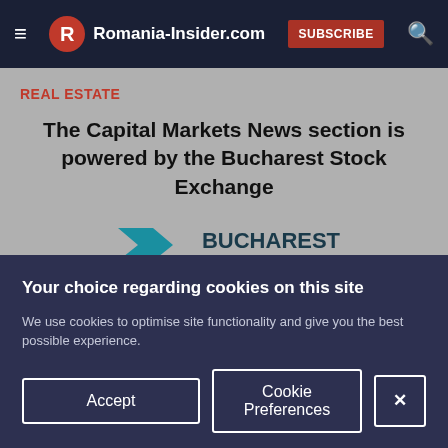Romania-Insider.com
REAL ESTATE
The Capital Markets News section is powered by the Bucharest Stock Exchange
[Figure (logo): Bucharest Stock Exchange logo with stylized blue X mark and text BUCHAREST STOCK EXCHANGE]
Your choice regarding cookies on this site
We use cookies to optimise site functionality and give you the best possible experience.
Accept | Cookie Preferences | X